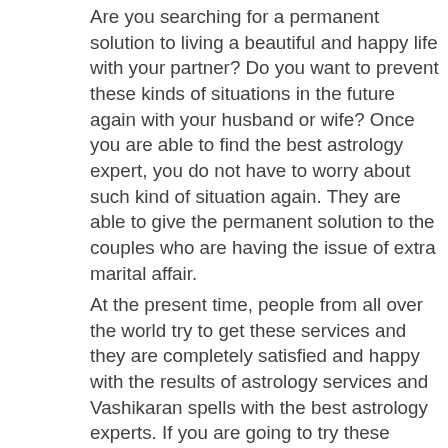Are you searching for a permanent solution to living a beautiful and happy life with your partner? Do you want to prevent these kinds of situations in the future again with your husband or wife? Once you are able to find the best astrology expert, you do not have to worry about such kind of situation again. They are able to give the permanent solution to the couples who are having the issue of extra marital affair.
[Figure (other): Black banner button with white bold italic text reading 'Click to Consult on Whatsapp' (partially visible, cut off at right edge)]
At the present time, people from all over the world try to get these services and they are completely satisfied and happy with the results of astrology services and Vashikaran spells with the best astrology experts. If you are going to try these services, you will find it magical and you will find very fast results with it. There is no need to wait for a long time when you want to get your true love back